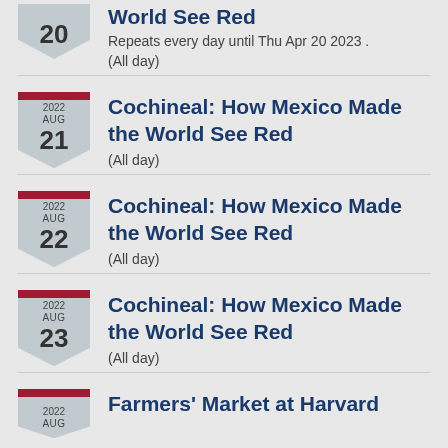20 — World See Red
Repeats every day until Thu Apr 20 2023 .
(All day)
2022 AUG 21 — Cochineal: How Mexico Made the World See Red
(All day)
2022 AUG 22 — Cochineal: How Mexico Made the World See Red
(All day)
2022 AUG 23 — Cochineal: How Mexico Made the World See Red
(All day)
2022 AUG — Farmers' Market at Harvard